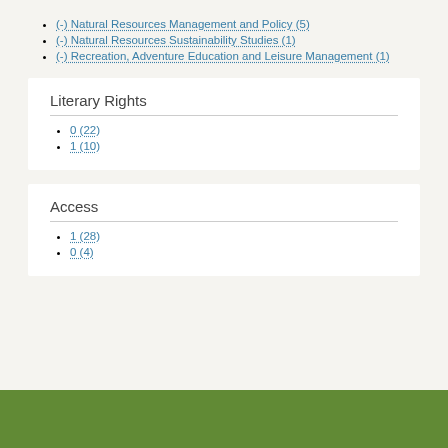(-) Natural Resources Management and Policy (5)
(-) Natural Resources Sustainability Studies (1)
(-) Recreation, Adventure Education and Leisure Management (1)
Literary Rights
0 (22)
1 (10)
Access
1 (28)
0 (4)